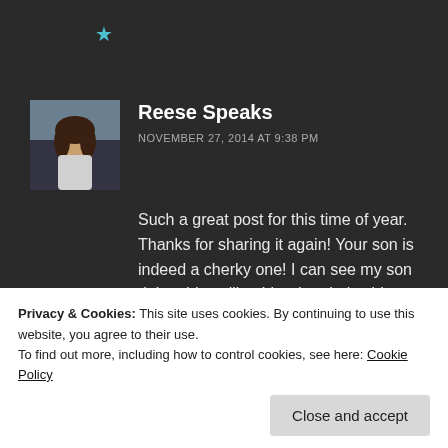[Figure (other): Teal star icon at top left area of dark background]
Reese Speaks
NOVEMBER 27, 2014 AT 9:38 PM
Such a great post for this time of year. Thanks for sharing it again! Your son is indeed a cherky one! I can see my son doing things like this when he's older, too! He's already a prankster at the age of 2.
Loading...
Privacy & Cookies: This site uses cookies. By continuing to use this website, you agree to their use.
To find out more, including how to control cookies, see here: Cookie Policy
Close and accept